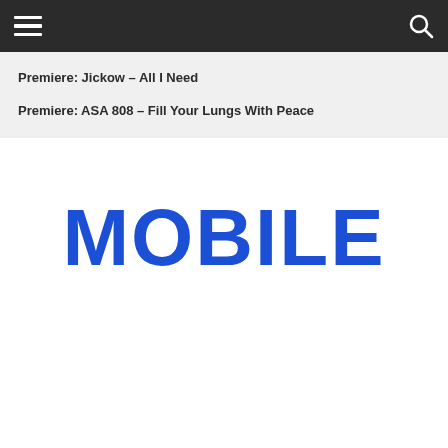Navigation bar with hamburger menu and search icon
Premiere: Jickow – All I Need
Premiere: ASA 808 – Fill Your Lungs With Peace
MOBILE